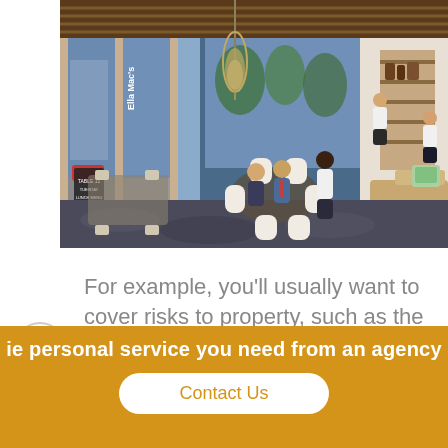[Figure (photo): Interior rendering of a modern restaurant/cafe space named 'Ella Mac's' with pendant lights, floor-to-ceiling windows, tables and chairs, and people seated and standing.]
For example, you'll usually want to cover risks to property, such as the building and equipment, along with
ie personal service you need from an agency
Contact Us